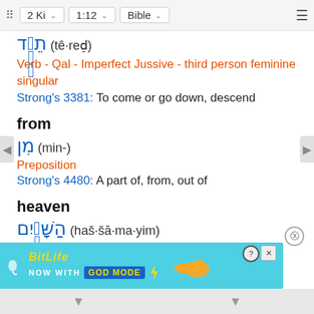⠿ 2 Ki ∨  1:12 ∨  Bible ∨  ≡
תֵרֵד (tê·red̠)
Verb - Qal - Imperfect Jussive - third person feminine singular
Strong's 3381: To come or go down, descend
from
מִן (min-)
Preposition
Strong's 4480: A part of, from, out of
heaven
הַשָּׁמַיִם (haš·šā·ma·yim)
Article | Noun - masculine plural
Strong's 8064: Heaven, sky
and c
[Figure (screenshot): BitLife advertisement banner: 'BitLife NOW WITH GOD MODE' with sperm mascot icon and pointing hand graphic on cyan background]